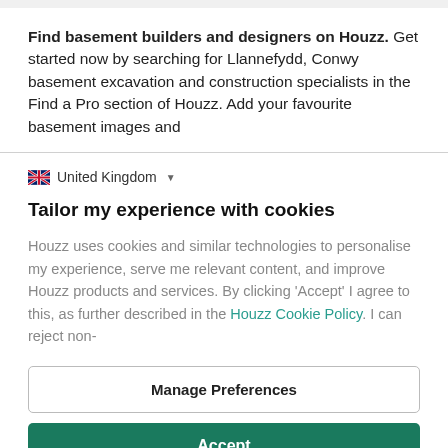Find basement builders and designers on Houzz. Get started now by searching for Llannefydd, Conwy basement excavation and construction specialists in the Find a Pro section of Houzz. Add your favourite basement images and
United Kingdom
Tailor my experience with cookies
Houzz uses cookies and similar technologies to personalise my experience, serve me relevant content, and improve Houzz products and services. By clicking 'Accept' I agree to this, as further described in the Houzz Cookie Policy. I can reject non-
Manage Preferences
Accept